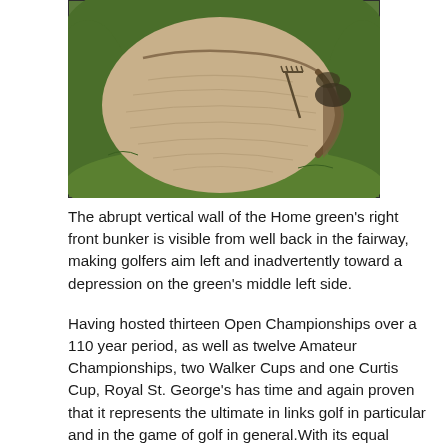[Figure (photo): Aerial/overhead view of a large sand bunker on a golf course, surrounded by green grass. The bunker has a roughly oval/teardrop shape with a sandy interior and an abrupt vertical wall visible at the far right edge. A golf rake is visible in the sand on the right side.]
The abrupt vertical wall of the Home green's right front bunker is visible from well back in the fairway, making golfers aim left and inadvertently toward a depression on the green's middle left side.
Having hosted thirteen Open Championships over a 110 year period, as well as twelve Amateur Championships, two Walker Cups and one Curtis Cup, Royal St. George's has time and again proven that it represents the ultimate in links golf in particular and in the game of golf in general.With its equal measures of challenge (e.g., the stern two-shotters on the run home from the thirteenth) and charm (e.g., the first nine),Sandwich is the rare links that is both a championship course and a thrilling lay-